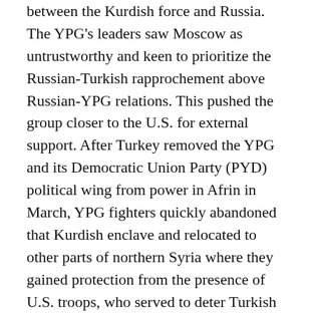between the Kurdish force and Russia. The YPG's leaders saw Moscow as untrustworthy and keen to prioritize the Russian-Turkish rapprochement above Russian-YPG relations. This pushed the group closer to the U.S. for external support. After Turkey removed the YPG and its Democratic Union Party (PYD) political wing from power in Afrin in March, YPG fighters quickly abandoned that Kurdish enclave and relocated to other parts of northern Syria where they gained protection from the presence of U.S. troops, who served to deter Turkish operations against the Kurdish force.
While beneficial to the YPG's interests in continuing to operate in and control large parts of northern Syria, the U.S.-Turkish standoff in northern Syria amounted to a dangerous game of chicken. Ankara views Donald Trump's decision to pull U.S. forces...